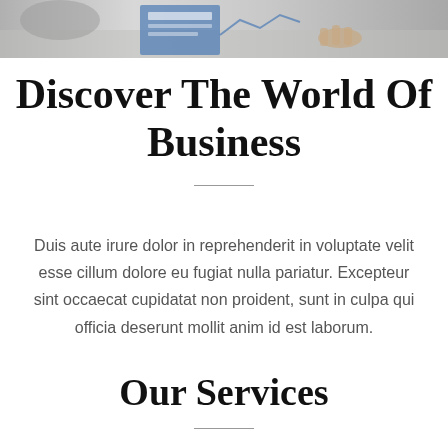[Figure (photo): Cropped photo of business people reviewing charts and documents on a desk, shown as a horizontal banner strip at the top of the page]
Discover The World Of Business
Duis aute irure dolor in reprehenderit in voluptate velit esse cillum dolore eu fugiat nulla pariatur. Excepteur sint occaecat cupidatat non proident, sunt in culpa qui officia deserunt mollit anim id est laborum.
Our Services